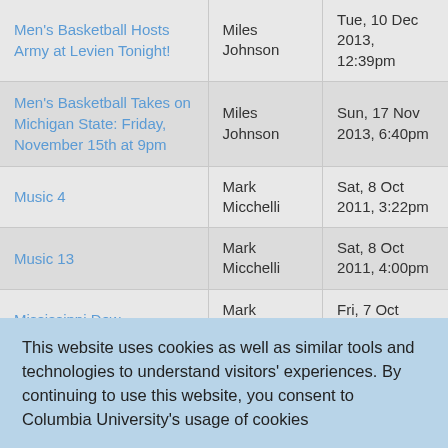| Title | Author | Date |
| --- | --- | --- |
| Men's Basketball Hosts Army at Levien Tonight! | Miles Johnson | Tue, 10 Dec 2013, 12:39pm |
| Men's Basketball Takes on Michigan State: Friday, November 15th at 9pm | Miles Johnson | Sun, 17 Nov 2013, 6:40pm |
| Music 4 | Mark Micchelli | Sat, 8 Oct 2011, 3:22pm |
| Music 13 | Mark Micchelli | Sat, 8 Oct 2011, 4:00pm |
| Mississippi Dew | Mark Micchelli | Fri, 7 Oct 2011, 6:28pm |
| Monday Morning in Mane... | Mark... | Tue, 2 May... |
This website uses cookies as well as similar tools and technologies to understand visitors' experiences. By continuing to use this website, you consent to Columbia University's usage of cookies